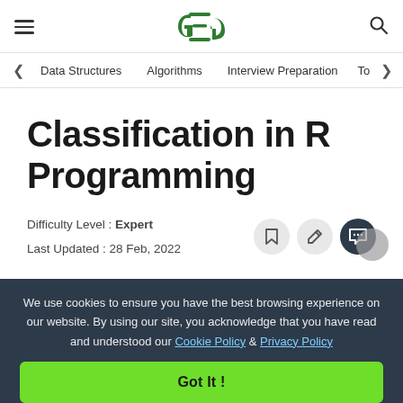GeeksForGeeks - hamburger menu, logo, search icon
< Data Structures   Algorithms   Interview Preparation   To>
Classification in R Programming
Difficulty Level : Expert
Last Updated : 28 Feb, 2022
We use cookies to ensure you have the best browsing experience on our website. By using our site, you acknowledge that you have read and understood our Cookie Policy & Privacy Policy
Got It !